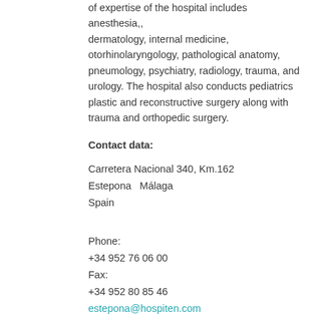of expertise of the hospital includes anesthesia,, dermatology, internal medicine, otorhinolaryngology, pathological anatomy, pneumology, psychiatry, radiology, trauma, and urology. The hospital also conducts pediatrics plastic and reconstructive surgery along with trauma and orthopedic surgery.
Contact data:
Carretera Nacional 340, Km.162
Estepona  Málaga
Spain
Phone:
+34 952 76 06 00
Fax:
+34 952 80 85 46
estepona@hospiten.com